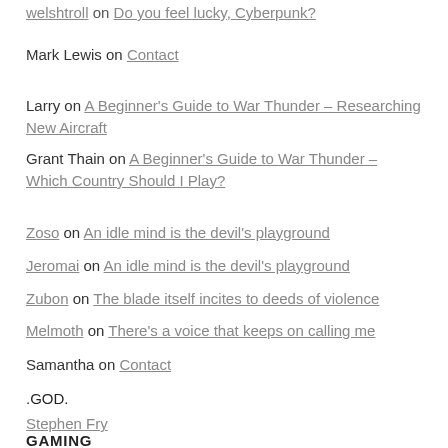welshtroll on Do you feel lucky, Cyberpunk?
Mark Lewis on Contact
Larry on A Beginner's Guide to War Thunder – Researching New Aircraft
Grant Thain on A Beginner's Guide to War Thunder – Which Country Should I Play?
Zoso on An idle mind is the devil's playground
Jeromai on An idle mind is the devil's playground
Zubon on The blade itself incites to deeds of violence
Melmoth on There's a voice that keeps on calling me
Samantha on Contact
.GOD.
Stephen Fry
GAMING